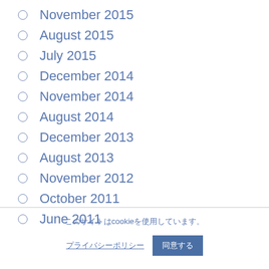November 2015
August 2015
July 2015
December 2014
November 2014
August 2014
December 2013
August 2013
November 2012
October 2011
June 2011
このサイトはcookieを使用しています。　プライバシーポリシー　同意する